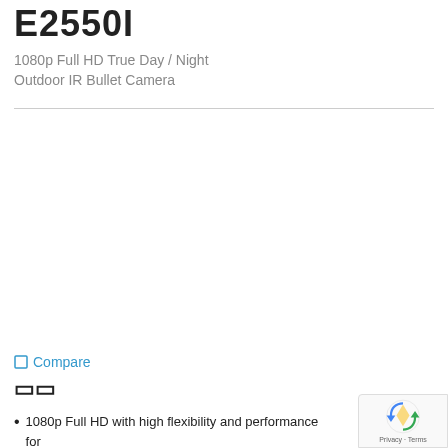E2550I
1080p Full HD True Day / Night
Outdoor IR Bullet Camera
[Figure (photo): Product image area for E2550I IR Bullet Camera (blank/white space where product image would appear)]
Compare
Features
1080p Full HD with high flexibility and performance for